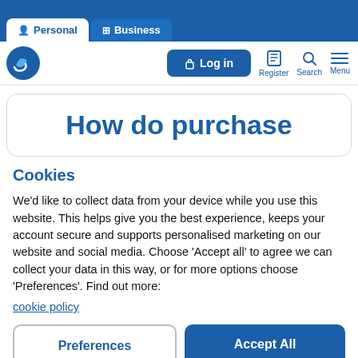Personal | Business | Log in | Register | Search | Menu
How do purchase
Cookies
We'd like to collect data from your device while you use this website. This helps give you the best experience, keeps your account secure and supports personalised marketing on our website and social media. Choose 'Accept all' to agree we can collect your data in this way, or for more options choose 'Preferences'. Find out more: cookie policy
Preferences | Accept All